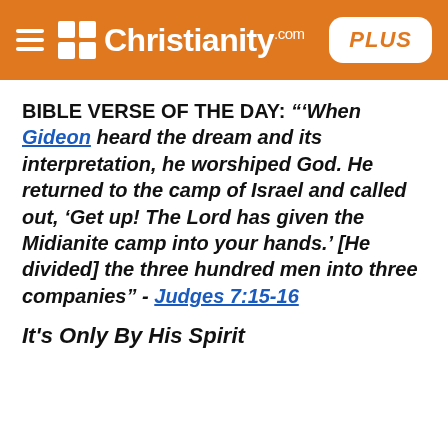Christianity.com PLUS
BIBLE VERSE OF THE DAY: "'When Gideon heard the dream and its interpretation, he worshiped God. He returned to the camp of Israel and called out, 'Get up! The Lord has given the Midianite camp into your hands.' [He divided] the three hundred men into three companies" - Judges 7:15-16
It's Only By His Spirit